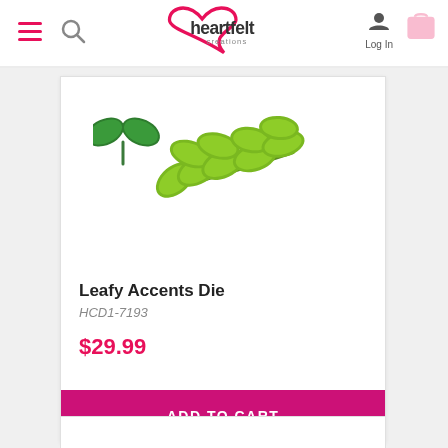Heartfelt Creations – navigation bar with hamburger menu, search, logo, log in, and cart icons
[Figure (illustration): Product image showing two green leaf die-cut shapes: a small simple two-leaf sprig on the left and a larger multi-leaf branch on the right, both in green on white background]
Leafy Accents Die
HCD1-7193
$29.99
ADD TO CART